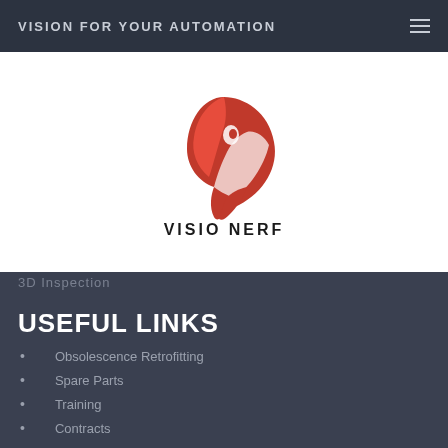VISION FOR YOUR AUTOMATION
[Figure (logo): VISIO NERF logo — stylized red bird/eagle head shape with white highlights, and text 'VISIO NERF' in black below]
3D Inspection
USEFUL LINKS
Obsolescence Retrofitting
Spare Parts
Training
Contracts
Documentation
ADDRESSES
VISIO NERF Inc. – USA
2791 Research Dr. Rochester Hills, MI 48309